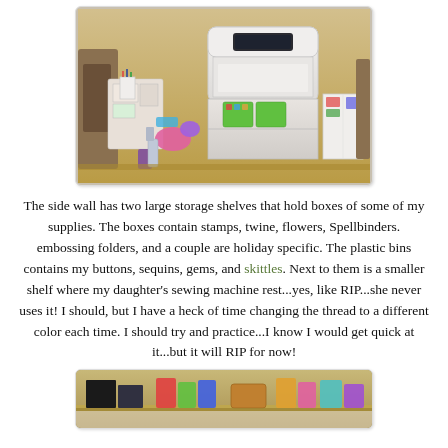[Figure (photo): Photo of a craft/hobby table with a white Cricut or cutting machine, storage shelves with supplies, cups with tools, and various craft materials scattered on a wooden table surface.]
The side wall has two large storage shelves that hold boxes of some of my supplies. The boxes contain stamps, twine, flowers, Spellbinders. embossing folders, and a couple are holiday specific. The plastic bins contains my buttons, sequins, gems, and skittles. Next to them is a smaller shelf where my daughter's sewing machine rest...yes, like RIP...she never uses it! I should, but I have a heck of time changing the thread to a different color each time. I should try and practice...I know I would get quick at it...but it will RIP for now!
[Figure (photo): Partial photo at the bottom of the page showing craft supplies and storage items on a shelf or table, partially cut off.]